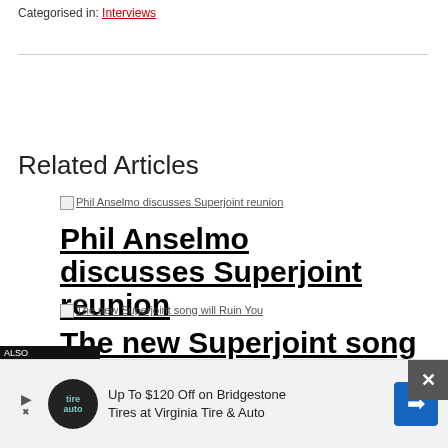Categorised in: Interviews
Related Articles
[Figure (other): Thumbnail image link: Phil Anselmo discusses Superjoint reunion]
Phil Anselmo discusses Superjoint reunion
[Figure (other): Thumbnail image link: The new Superjoint song will Ruin You]
The new Superjoint song will Ruin You
[Figure (other): Advertisement banner: Up To $120 Off on Bridgestone Tires at Virginia Tire & Auto]